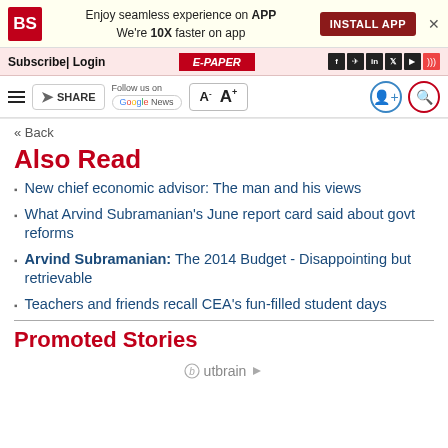BS | Enjoy seamless experience on APP We're 10X faster on app | INSTALL APP
Subscribe | Login | E-PAPER
SHARE | Follow us on Google News | A- A+
« Back
Also Read
New chief economic advisor: The man and his views
What Arvind Subramanian's June report card said about govt reforms
Arvind Subramanian: The 2014 Budget - Disappointing but retrievable
Teachers and friends recall CEA's fun-filled student days
Promoted Stories
Outbrain